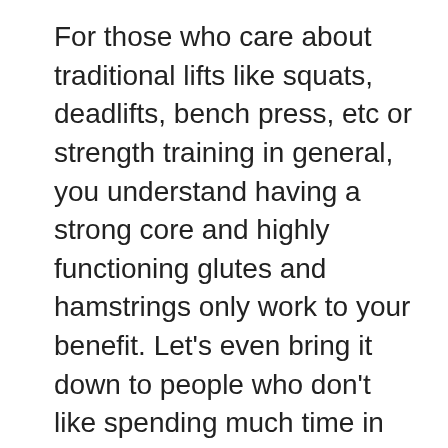For those who care about traditional lifts like squats, deadlifts, bench press, etc or strength training in general, you understand having a strong core and highly functioning glutes and hamstrings only work to your benefit. Let's even bring it down to people who don't like spending much time in the gym because they think exercising muscles in isolation is a waste of time. Using anti-lateral/rotational workouts, you engage multiple muscles, meaning you require less exercise time to get a good workout. So if you normally do 8 isolation exercises you could literally do 4 anti rotation/lateral exercises and cut your workout load